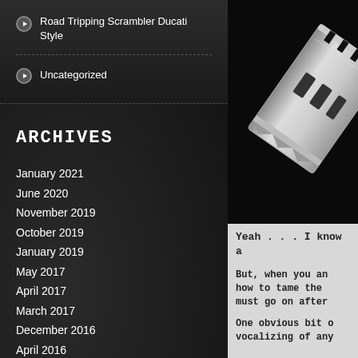Road Tripping Scrambler Ducati Style
Uncategorized
ARCHIVES
January 2021
June 2020
November 2019
October 2019
January 2019
May 2017
April 2017
March 2017
December 2016
April 2016
November 2015
October 2015
[Figure (photo): A razor blade on a black background, angled diagonally]
Yeah . . . I know a
But, when you an how to tame the must go on after
One obvious bit o vocalizing of any